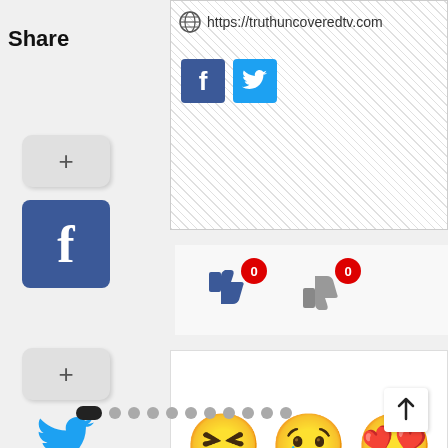Share
https://truthuncoveredtv.com
[Figure (screenshot): Facebook and Twitter share buttons]
[Figure (screenshot): Thumbs up with count 0 and thumbs down with count 0 reaction buttons]
[Figure (screenshot): Three emoji reactions: laughing, sad, and heart-eyes]
[Figure (photo): Map of Ethiopia highlighting Oromia region in orange]
Gunmen kill dozens in Ethiopia's Oromia region: Report
[Figure (screenshot): Carousel pagination dots with first dot active, and scroll-up arrow button]